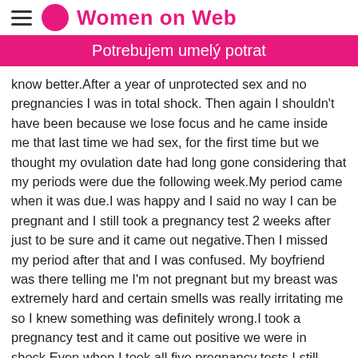Women on Web
Potrebujem umelý potrat
know better.After a year of unprotected sex and no pregnancies I was in total shock. Then again I shouldn't have been because we lose focus and he came inside me that last time we had sex, for the first time but we thought my ovulation date had long gone considering that my periods were due the following week.My period came when it was due.I was happy and I said no way I can be pregnant and I still took a pregnancy test 2 weeks after just to be sure and it came out negative.Then I missed my period after that and I was confused. My boyfriend was there telling me I'm not pregnant but my breast was extremely hard and certain smells was really irritating me so I knew something was definitely wrong.I took a pregnancy test and it came out positive we were in shock.Even when I took all five pregnancy tests I still didn't believe it.I broke down in my doctors office